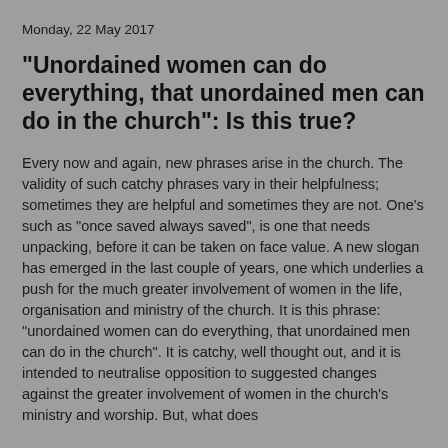Monday, 22 May 2017
"Unordained women can do everything, that unordained men can do in the church": Is this true?
Every now and again, new phrases arise in the church. The validity of such catchy phrases vary in their helpfulness; sometimes they are helpful and sometimes they are not. One's such as "once saved always saved", is one that needs unpacking, before it can be taken on face value. A new slogan has emerged in the last couple of years, one which underlies a push for the much greater involvement of women in the life, organisation and ministry of the church. It is this phrase: "unordained women can do everything, that unordained men can do in the church". It is catchy, well thought out, and it is intended to neutralise opposition to suggested changes against the greater involvement of women in the church's ministry and worship. But, what does